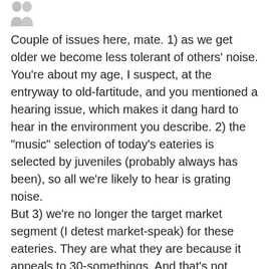[Figure (illustration): Two grey silhouette avatar/person icons at the top of the page]
Couple of issues here, mate. 1) as we get older we become less tolerant of others’ noise. You’re about my age, I suspect, at the entryway to old-fartitude, and you mentioned a hearing issue, which makes it dang hard to hear in the environment you describe. 2) the “music” selection of today’s eateries is selected by juveniles (probably always has been), so all we’re likely to hear is grating noise.
But 3) we’re no longer the target market segment (I detest market-speak) for these eateries. They are what they are because it appeals to 30-somethings. And that’s not going to change. I will however, kick about it for as long as I have a kick left in me!